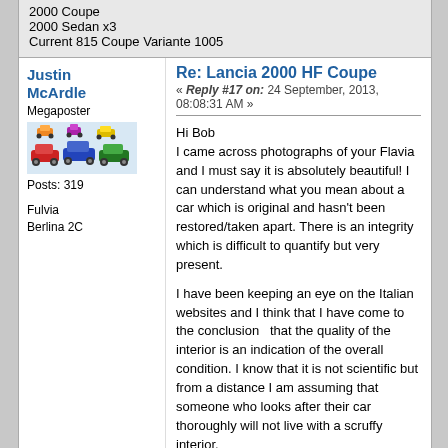2000 Coupe
2000 Sedan x3
Current 815 Coupe Variante 1005
Re: Lancia 2000 HF Coupe
« Reply #17 on: 24 September, 2013, 08:08:31 AM »
Justin McArdle
Megaposter
Posts: 319
Fulvia Berlina 2C
Hi Bob
I came across photographs of your Flavia and I must say it is absolutely beautiful! I can understand what you mean about a car which is original and hasn't been restored/taken apart. There is an integrity which is difficult to quantify but very present.

I have been keeping an eye on the Italian websites and I think that I have come to the conclusion  that the quality of the interior is an indication of the overall condition. I know that it is not scientific but from a distance I am assuming that someone who looks after their car thoroughly will not live with a scruffy interior.
I am also looking at Richard Burt's 2000HF which I believe you also went to see but didn't like the colour? What was your impression of Richard's car. BTW I quite like the white!
Also, how did you find your Flavia in Italy?
Justin